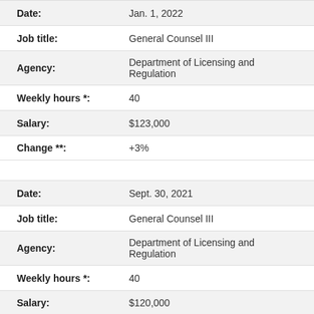| Field | Value |
| --- | --- |
| Date: | Jan. 1, 2022 |
| Job title: | General Counsel III |
| Agency: | Department of Licensing and Regulation |
| Weekly hours *: | 40 |
| Salary: | $123,000 |
| Change **: | +3% |
| Field | Value |
| --- | --- |
| Date: | Sept. 30, 2021 |
| Job title: | General Counsel III |
| Agency: | Department of Licensing and Regulation |
| Weekly hours *: | 40 |
| Salary: | $120,000 |